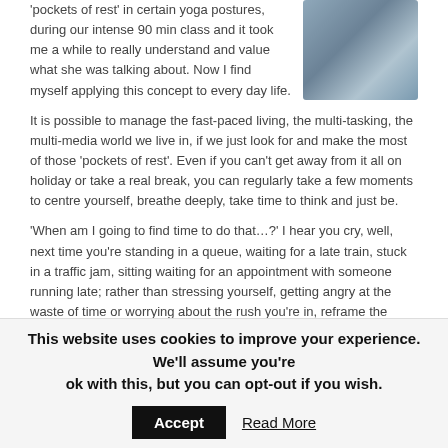'pockets of rest' in certain yoga postures, during our intense 90 min class and it took me a while to really understand and value what she was talking about.  Now I find myself applying this concept to every day life.
[Figure (photo): A close-up photo of folded blue denim fabric or clothing.]
It is possible to manage the fast-paced living, the multi-tasking, the multi-media world we live in, if we just look for and make the most of those 'pockets of rest'.  Even if you can't get away from it all on holiday or take a real break, you can regularly take a few moments to centre yourself, breathe deeply, take time to think and just be.
'When am I going to find time to do that…?' I hear you cry, well, next time you're standing in a queue, waiting for a late train, stuck in a traffic jam, sitting waiting for an appointment with someone running late; rather than stressing yourself, getting angry at the waste of time or worrying about the rush you're in, reframe the situation and view it as an opportunity for a pocket of rest, when you can just breathe and be, for a few moments or a few minutes.
This website uses cookies to improve your experience. We'll assume you're ok with this, but you can opt-out if you wish. Accept Read More